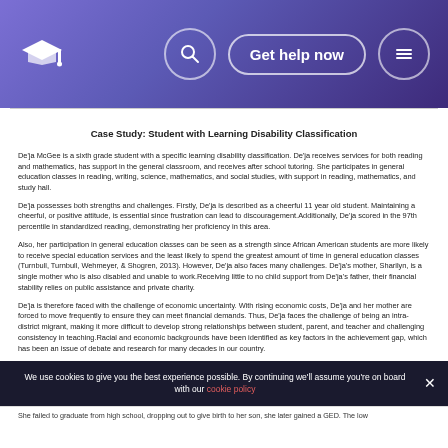Get help now
Case Study: Student with Learning Disability Classification
De'ja McGee is a sixth grade student with a specific learning disability classification. De'ja receives services for both reading and mathematics, has support in the general classroom, and receives after school tutoring. She participates in general education classes in reading, writing, science, mathematics, and social studies, with support in reading, mathematics, and study hall.
De'ja possesses both strengths and challenges. Firstly, De'ja is described as a cheerful 11 year old student. Maintaining a cheerful, or positive attitude, is essential since frustration can lead to discouragement.Additionally, De'ja scored in the 97th percentile in standardized reading, demonstrating her proficiency in this area.
Also, her participation in general education classes can be seen as a strength since African American students are more likely to receive special education services and the least likely to spend the greatest amount of time in general education classes (Turnbull, Turnbull, Wehmeyer, & Shogren, 2013). However, De'ja also faces many challenges. De'ja's mother, Sharilyn, is a single mother who is also disabled and unable to work.Receiving little to no child support from De'ja's father, their financial stability relies on public assistance and private charity.
De'ja is therefore faced with the challenge of economic uncertainty. With rising economic costs, De'ja and her mother are forced to move frequently to ensure they can meet financial demands. Thus, De'ja faces the challenge of being an intra-district migrant, making it more difficult to develop strong relationships between student, parent, and teacher and challenging consistency in teaching.Racial and economic backgrounds have been identified as key factors in the achievement gap, which has been an issue of debate and research for many decades in our country.
Finally, De'ja is forced to take on responsibilities of an individual far beyond her years. She must change her mother's surgical dressings, inject pain killers, and help her get dressed. She has taken on a caretaker or parental role in this respect. This may place additional stress on De'ja making it more difficult for her to focus on her educational goals.
Building family relationships is essential to student success and is one of the NAEYC standards. Involving
We use cookies to give you the best experience possible. By continuing we'll assume you're on board with our cookie policy
She failed to graduate from high school, dropping out to give birth to her son, she later gained a GED. The low